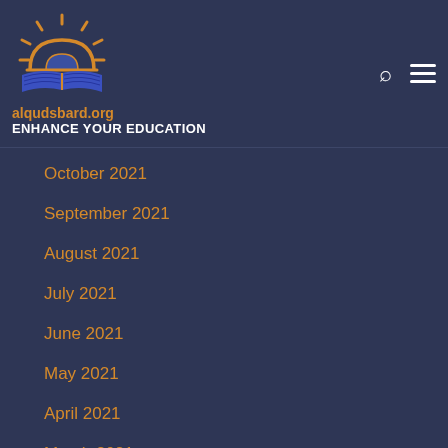[Figure (logo): AlQuds Bard logo with sun rays, arch/dome, and open book with blue pages on dark navy background]
alqudsbard.org
ENHANCE YOUR EDUCATION
October 2021
September 2021
August 2021
July 2021
June 2021
May 2021
April 2021
March 2021
February 2021
January 2021
December 2020